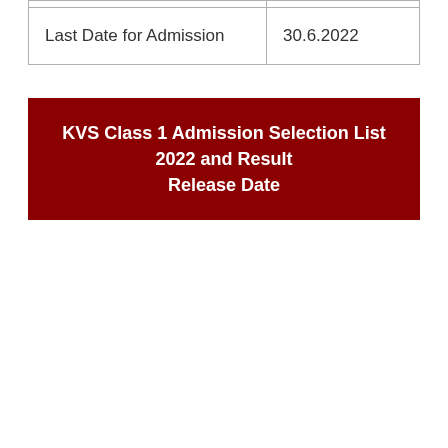| Last Date for Admission | 30.6.2022 |
KVS Class 1 Admission Selection List 2022 and Result Release Date